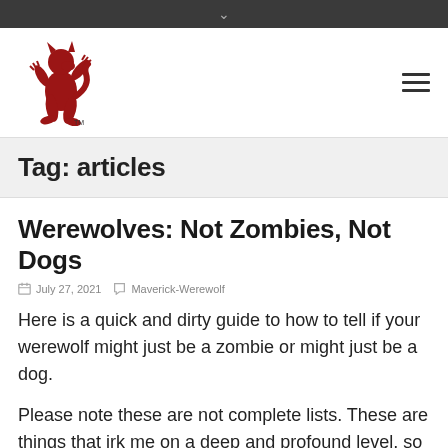∨
[Figure (logo): Red heraldic werewolf/lion-like creature standing upright, with TM mark. Site logo.]
Tag: articles
Werewolves: Not Zombies, Not Dogs
July 27, 2021   Maverick-Werewolf
Here is a quick and dirty guide to how to tell if your werewolf might just be a zombie or might just be a dog.
Please note these are not complete lists. These are things that irk me on a deep and profound level, so I could go on